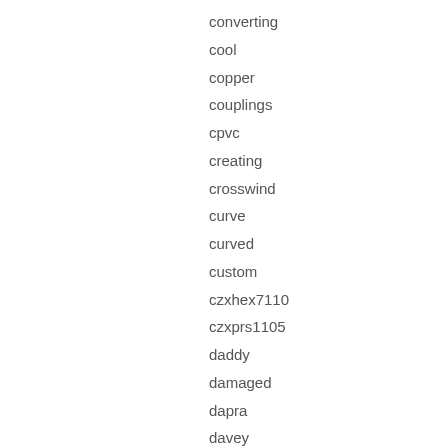converting
cool
copper
couplings
cpvc
creating
crosswind
curve
curved
custom
czxhex7110
czxprs1105
daddy
damaged
dapra
davey
davo
delco
delivery